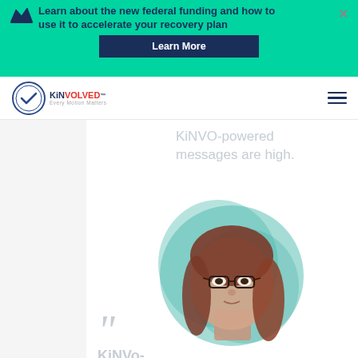Learn about the new federal funding and how to use it to accelerate your recovery plan
Learn More
[Figure (logo): KiNVOLVED logo with circular emblem and tagline]
KiNVO-powered messages are high.
[Figure (illustration): Illustrated portrait of a woman with glasses and long brown hair against a teal watercolor background]
"
KiNVo-